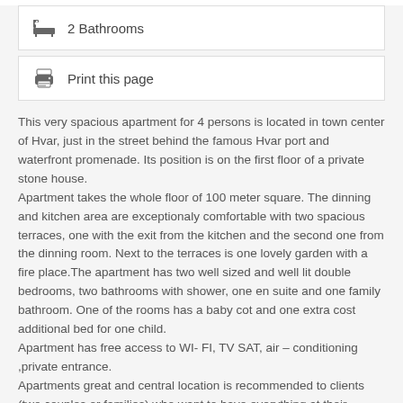2 Bathrooms
Print this page
This very spacious apartment for 4 persons is located in town center of Hvar, just in the street behind the famous Hvar port and waterfront promenade. Its position is on the first floor of a private stone house.
Apartment takes the whole floor of 100 meter square. The dinning and kitchen area are exceptionaly comfortable with two spacious terraces, one with the exit from the kitchen and the second one from the dinning room. Next to the terraces is one lovely garden with a fire place.The apartment has two well sized and well lit double bedrooms, two bathrooms with shower, one en suite and one family bathroom. One of the rooms has a baby cot and one extra cost additional bed for one child.
Apartment has free access to WI- FI, TV SAT, air – conditioning ,private entrance.
Apartments great and central location is recommended to clients (two couples or families) who want to have everything at their fingertips because it is very near the harbour, town square, variety of